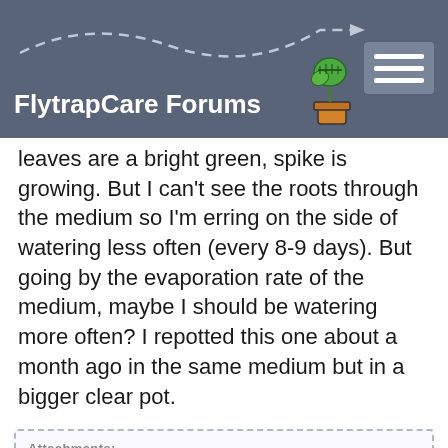FlytrapCare Forums
leaves are a bright green, spike is growing. But I can't see the roots through the medium so I'm erring on the side of watering less often (every 8-9 days). But going by the evaporation rate of the medium, maybe I should be watering more often? I repotted this one about a month ago in the same medium but in a bigger clear pot.
Attachments:
[Figure (photo): Close-up photograph of a plant in a decorative pot, showing roots or base of plant with blurred colorful background]